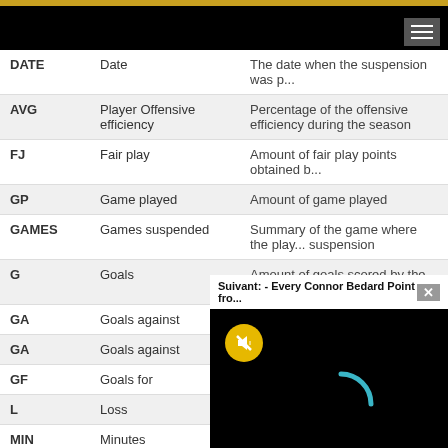| Code | Name | Description |
| --- | --- | --- |
| DATE | Date | The date when the suspension was p... |
| AVG | Player Offensive efficiency | Percentage of the offensive efficiency during the season |
| FJ | Fair play | Amount of fair play points obtained b... |
| GP | Game played | Amount of game played |
| GAMES | Games suspended | Summary of the game where the play... suspension |
| G | Goals | Amount of goals scored by the player |
| GA | Goals against |  |
| GA | Goals against |  |
| GF | Goals for |  |
| L | Loss |  |
| MIN | Minutes |  |
| PMIN | Penalty minute... |  |
| AVG | Average | ...for the season |
| AVG | Performance average | Average of the performance of the te... goals for and goals against |
[Figure (screenshot): Video popup overlay showing 'Suivant: - Every Connor Bedard Point fro...' with a close button, mute button, and loading spinner on black background]